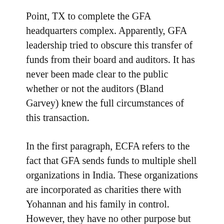Point, TX to complete the GFA headquarters complex. Apparently, GFA leadership tried to obscure this transfer of funds from their board and auditors. It has never been made clear to the public whether or not the auditors (Bland Garvey) knew the full circumstances of this transaction.
In the first paragraph, ECFA refers to the fact that GFA sends funds to multiple shell organizations in India. These organizations are incorporated as charities there with Yohannan and his family in control. However, they have no other purpose but to funnel funds to Believers' Church.